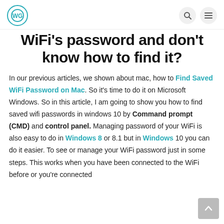WG logo, search icon, menu icon
WiFi's password and don't know how to find it?
In our previous articles, we shown about mac, how to Find Saved WiFi Password on Mac. So it's time to do it on Microsoft Windows. So in this article, I am going to show you how to find saved wifi passwords in windows 10 by Command prompt (CMD) and control panel. Managing password of your WiFi is also easy to do in Windows 8 or 8.1 but in Windows 10 you can do it easier. To see or manage your WiFi password just in some steps. This works when you have been connected to the WiFi before or you're connected